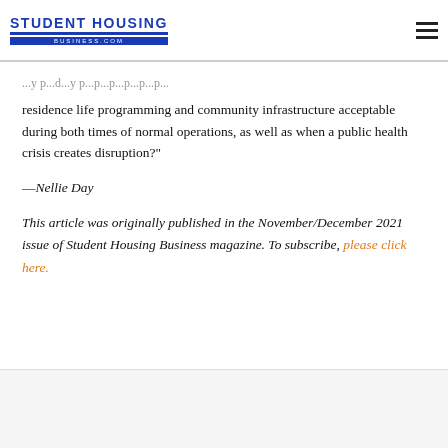STUDENT HOUSING BUSINESS.COM
residence life programming and community infrastructure acceptable during both times of normal operations, as well as when a public health crisis creates disruption?"
—Nellie Day
This article was originally published in the November/December 2021 issue of Student Housing Business magazine. To subscribe, please click here.